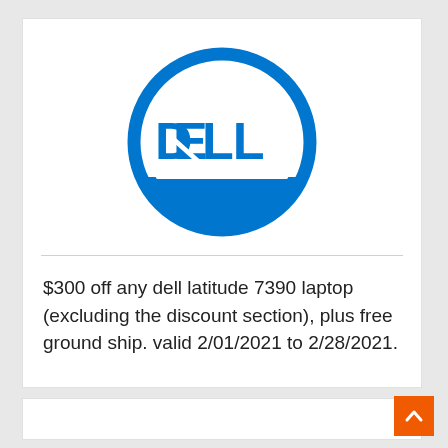[Figure (logo): Dell logo: blue circle ring with DELL text in bold blue letters inside]
$300 off any dell latitude 7390 laptop (excluding the discount section), plus free ground ship. valid 2/01/2021 to 2/28/2021.